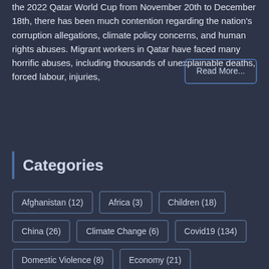2022 Qatar World Cup As football fans prepare to watch the 2022 Qatar World Cup from November 20th to December 18th, there has been much contention regarding the nation's corruption allegations, climate policy concerns, and human rights abuses. Migrant workers in Qatar have faced many horrific abuses, including thousands of unexplainable deaths, forced labour, injuries,
Categories
Afghanistan (12)
Africa (3)
Children (18)
China (26)
Climate Change (6)
Covid19 (134)
Domestic Violence (8)
Economy (21)